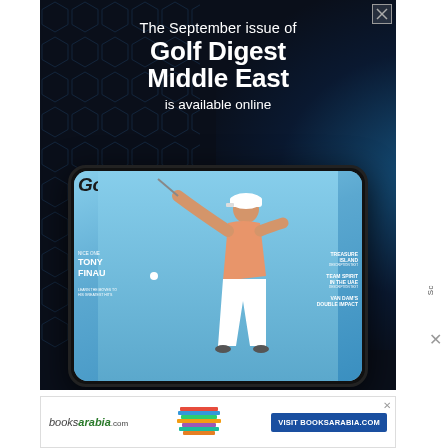[Figure (illustration): Advertisement for Golf Digest Middle East September issue. Dark navy background with hexagonal texture on the left and blue light effect on the right. Large white text reads 'The September issue of Golf Digest Middle East is available online'. Below is an image of a tablet displaying the magazine cover featuring golfer Tony Finau swinging a club.]
[Figure (illustration): Bottom banner advertisement for BooksArabia.com showing the booksarabia logo, a stack of books image, and a blue 'VISIT BOOKSARABIA.COM' button.]